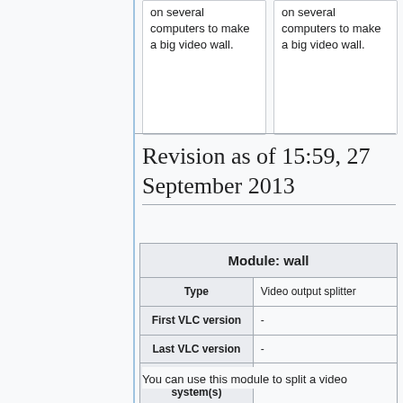on several computers to make a big video wall.
on several computers to make a big video wall.
Revision as of 15:59, 27 September 2013
| Module: wall |
| --- |
| Type | Video output splitter |
| First VLC version | - |
| Last VLC version | - |
| Operating system(s) | all |
| Description | Splits the video output in several windows |
| Shortcut(s) | - |
You can use this module to split a video